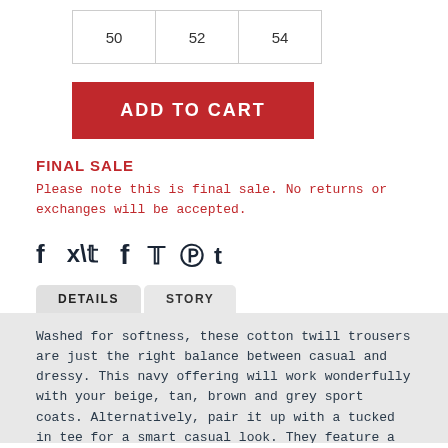| 50 | 52 | 54 |
[Figure (other): ADD TO CART button (red background, white bold text)]
FINAL SALE
Please note this is final sale. No returns or exchanges will be accepted.
[Figure (other): Social sharing icons: Facebook, Twitter, Pinterest, Tumblr]
[Figure (other): Tabs: DETAILS (active), STORY]
Washed for softness, these cotton twill trousers are just the right balance between casual and dressy. This navy offering will work wonderfully with your beige, tan, brown and grey sport coats. Alternatively, pair it up with a tucked in tee for a smart casual look. They feature a high-rise and side adjustment tabs in lieu of belt loops. Additional details include pick stitching around the fly and